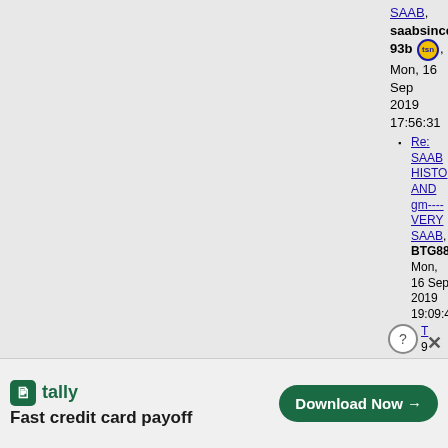SAAB, saabsince93b, Mon, 16 Sep 2019 17:56:31
Re: SAAB HISTO AND gm----VERY SAAB, BTG88, Mon, 16 Sep 2019 19:09:4...
[Figure (screenshot): Tally app advertisement banner: 'Fast credit card payoff' with Download Now button]